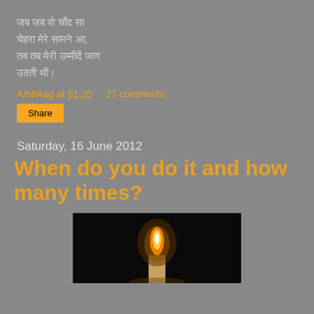जब जब वो चाँद सा चेहरा मेरे सामने आ, तब तब मेरी उम्मीदें जाग उठती थी।
AmitAag at 01:20    27 comments:
Share
Saturday, 16 June 2012
When do you do it and how many times?
[Figure (photo): A candle flame against a dark background]